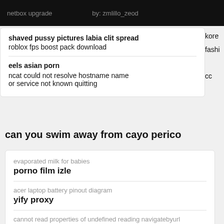netbox upgrade   by: zmlillo_zeod   filli
shaved pussy pictures labia clit spread
roblox fps boost pack download
kore
fashi
cc
eels asian porn
ncat could not resolve hostname name or service not known quitting
can you swim away from cayo perico
evaporated milk for babies
porno film izle
acer laptop battery pinout diagram
yify proxy
cannot read properties of undefined reading navigatebyurl